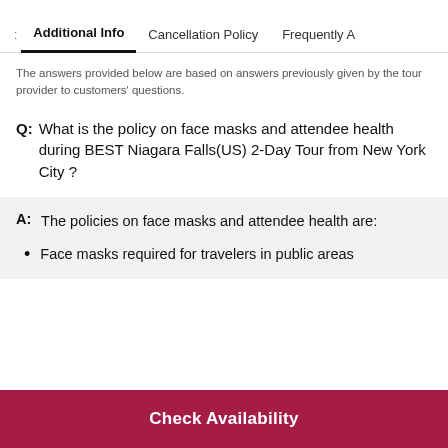Additional Info | Cancellation Policy | Frequently A
The answers provided below are based on answers previously given by the tour provider to customers' questions.
Q: What is the policy on face masks and attendee health during BEST Niagara Falls(US) 2-Day Tour from New York City ?
A: The policies on face masks and attendee health are:
Face masks required for travelers in public areas
Check Availability